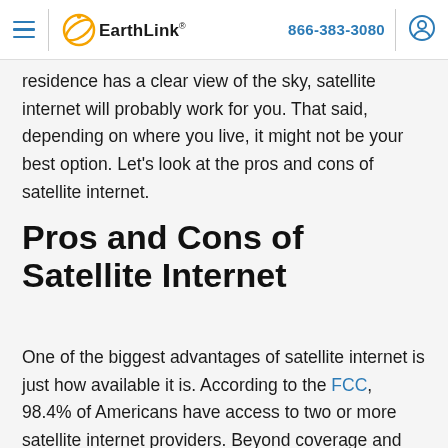EarthLink | 866-383-3080
residence has a clear view of the sky, satellite internet will probably work for you. That said, depending on where you live, it might not be your best option. Let's look at the pros and cons of satellite internet.
Pros and Cons of Satellite Internet
One of the biggest advantages of satellite internet is just how available it is. According to the FCC, 98.4% of Americans have access to two or more satellite internet providers. Beyond coverage and options,